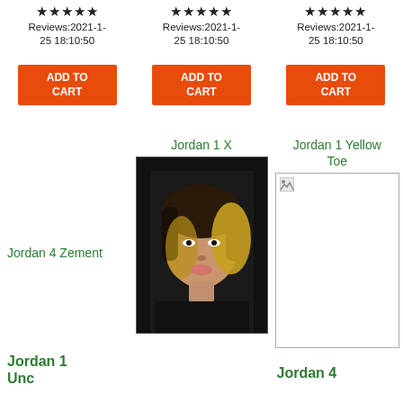★★★★★ Reviews:2021-1-25 18:10:50
★★★★★ Reviews:2021-1-25 18:10:50
★★★★★ Reviews:2021-1-25 18:10:50
ADD TO CART
ADD TO CART
ADD TO CART
Jordan 4 Zement
Jordan 1 X
[Figure (photo): Photo of a young woman with blonde ombre bob haircut wearing a black lace top]
Jordan 1 Yellow Toe
[Figure (photo): Broken/missing image placeholder]
Jordan 1 Unc
Jordan 4